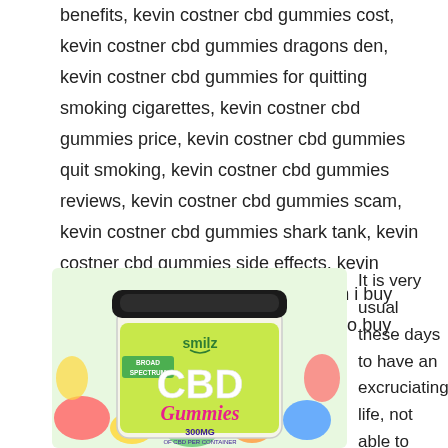benefits, kevin costner cbd gummies cost, kevin costner cbd gummies dragons den, kevin costner cbd gummies for quitting smoking cigarettes, kevin costner cbd gummies price, kevin costner cbd gummies quit smoking, kevin costner cbd gummies reviews, kevin costner cbd gummies scam, kevin costner cbd gummies shark tank, kevin costner cbd gummies side effects, kevin costner delta 8 gummies, where can i buy kevin costner cbd gummies, where to buy kevin costner cbd gummies
[Figure (photo): A jar of Smilz Broad Spectrum CBD Gummies 300mg with colorful gummy candy imagery on the label]
It is very usual these days to have an excruciating life, not able to stroll, joke, as well as run. For the aging